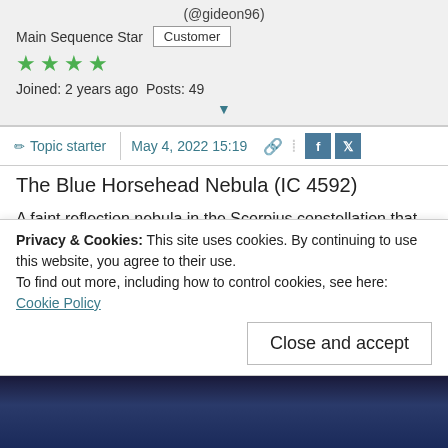(@gideon96)
Main Sequence Star  Customer
★★★★ (4 green stars)
Joined: 2 years ago  Posts: 49
▼
✏ Topic starter  May 4, 2022 15:19
The Blue Horsehead Nebula (IC 4592)
A faint reflection nebula in the Scorpius constellation that is lit by Nu Scorpii.
The Nebula is about 40 light-years across, located some 420 light-years away near the center of our Milky Way Galaxy.
Privacy & Cookies: This site uses cookies. By continuing to use this website, you agree to their use.
To find out more, including how to control cookies, see here: Cookie Policy
Close and accept